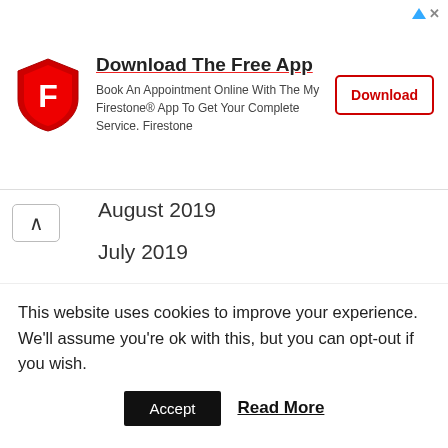[Figure (logo): Firestone advertisement banner with red shield logo, 'Download The Free App' title, descriptive text about booking appointment, and a Download button]
August 2019
July 2019
June 2019
May 2019
April 2019
March 2019
February 2019
January 2019
This website uses cookies to improve your experience. We'll assume you're ok with this, but you can opt-out if you wish.